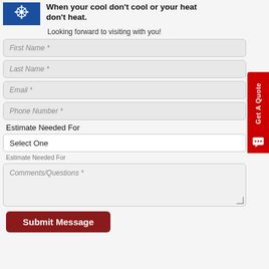[Figure (illustration): Blue background image with decorative HVAC/snowflake motif]
When your cool don't cool or your heat don't heat.
Looking forward to visiting with you!
First Name *
Last Name *
Email *
Phone Number *
Estimate Needed For
Select One
Estimate Needed For
Comments/Questions *
Submit Message
Get A Quote